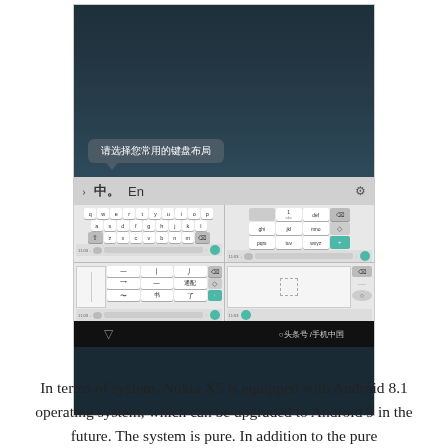[Figure (screenshot): Screenshot of a Nokia X5 Android phone showing a keyboard layout selection screen. The screen displays a dark ocean/sky background with a Chinese tooltip bubble reading '请选择您常用的键盘布局' (Please select your commonly used keyboard layout). Below is a keyboard interface with Chinese (中) and English (En) input options, showing four keyboard layouts: QWERTY, numeric keypad, stroke input, and handwriting input panels. The bottom navigation bar shows a triangle back button and '○头条号/手机中国' watermark text.]
In terms of system, Nokia X5 is equipped with Android 8.1 operating system, which can be upgraded to Android 9 in the future. The system is pure. In addition to the pure